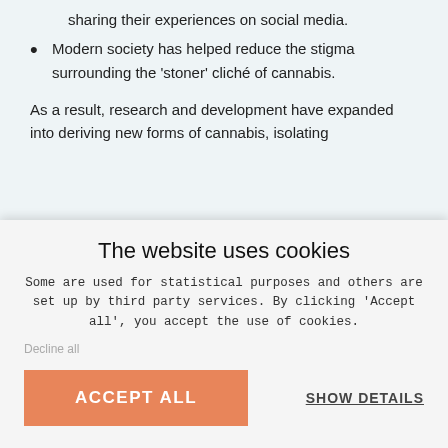sharing their experiences on social media.
Modern society has helped reduce the stigma surrounding the 'stoner' cliché of cannabis.
As a result, research and development have expanded into deriving new forms of cannabis, isolating
The website uses cookies
Some are used for statistical purposes and others are set up by third party services. By clicking 'Accept all', you accept the use of cookies.
Decline all
ACCEPT ALL
SHOW DETAILS